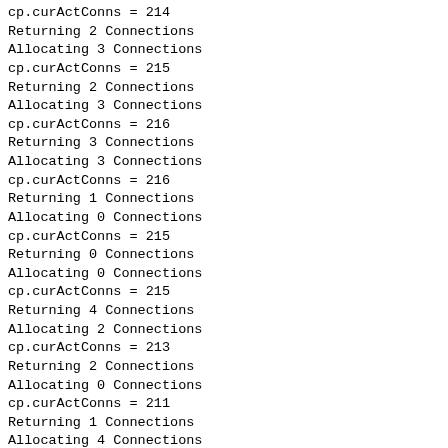cp.curActConns = 214
Returning 2 Connections
Allocating 3 Connections
cp.curActConns = 215
Returning 2 Connections
Allocating 3 Connections
cp.curActConns = 216
Returning 3 Connections
Allocating 3 Connections
cp.curActConns = 216
Returning 1 Connections
Allocating 0 Connections
cp.curActConns = 215
Returning 0 Connections
Allocating 0 Connections
cp.curActConns = 215
Returning 4 Connections
Allocating 2 Connections
cp.curActConns = 213
Returning 2 Connections
Allocating 0 Connections
cp.curActConns = 211
Returning 1 Connections
Allocating 4 Connections
cp.curActConns = 214
Returning 0 Connections
Allocating 3 Connections
cp.curActConns = 216
Returning 0 Connections
cp.curActConns = 217